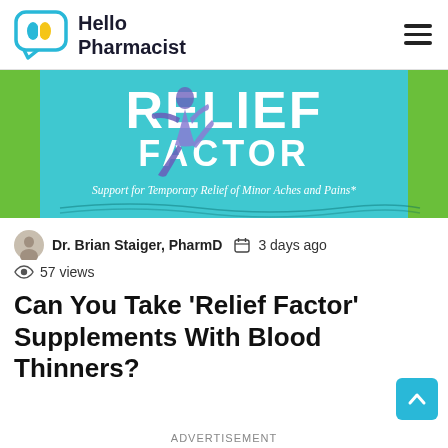Hello Pharmacist
[Figure (photo): Product packaging photo of 'Relief Factor' supplement bag with teal/blue and green design, showing a running figure and text 'Support for Temporary Relief of Minor Aches and Pains']
Dr. Brian Staiger, PharmD  3 days ago
57 views
Can You Take 'Relief Factor' Supplements With Blood Thinners?
ADVERTISEMENT